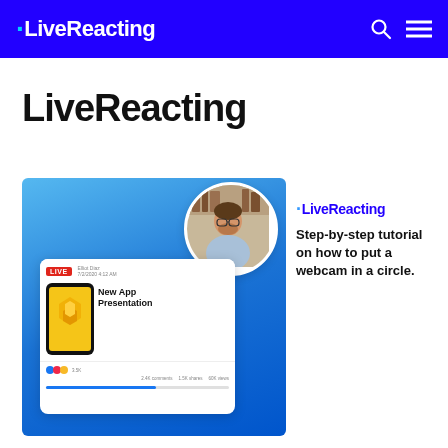.LiveReacting
LiveReacting
[Figure (screenshot): LiveReacting app promotional image showing a Facebook Live stream interface with a webcam circle overlay of a man, a phone showing a yellow app, and a card titled 'New App Presentation']
.LiveReacting
Step-by-step tutorial on how to put a webcam in a circle.